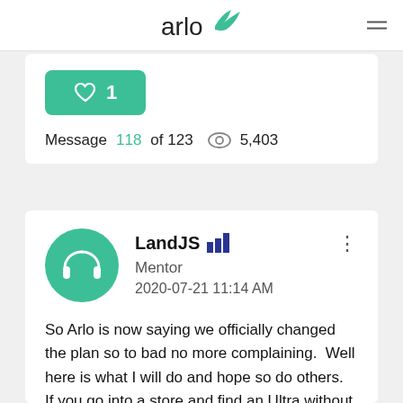arlo
[Figure (logo): Arlo brand logo with teal bird/leaf mark]
♡ 1
Message 118 of 123  👁 5,403
LandJS  Mentor  2020-07-21 11:14 AM
So Arlo is now saying we officially changed the plan so to bad no more complaining.  Well here is what I will do and hope so do others.  If you go into a store and find an Ultra without